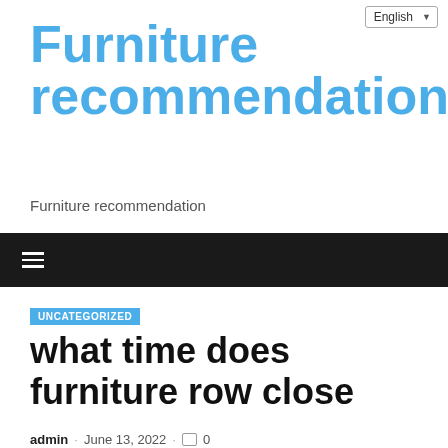English
Furniture recommendation
Furniture recommendation
≡
UNCATEGORIZED
what time does furniture row close
admin · June 13, 2022 · 0